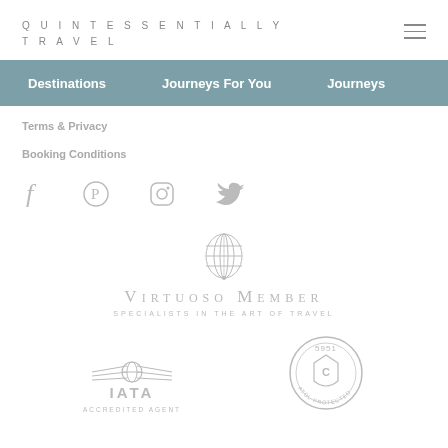QUINTESSENTIALLY TRAVEL
Destinations  Journeys For You  Journeys
Terms & Privacy
Booking Conditions
[Figure (logo): Social media icons: Facebook, Pinterest, Instagram, Twitter]
[Figure (logo): Virtuoso Member – Specialists in the Art of Travel logo]
[Figure (logo): IATA Accredited Agent logo]
[Figure (logo): ATOL Protected badge with number 5951]